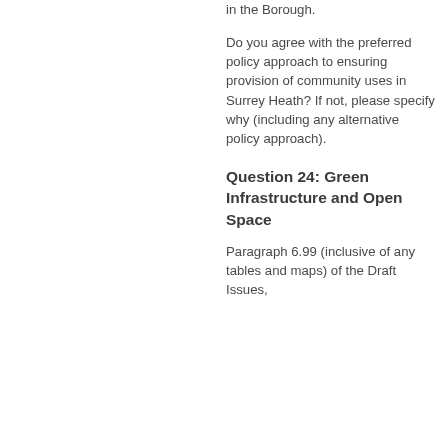in the Borough.
Do you agree with the preferred policy approach to ensuring provision of community uses in Surrey Heath? If not, please specify why (including any alternative policy approach).
Question 24: Green Infrastructure and Open Space
Paragraph 6.99 (inclusive of any tables and maps) of the Draft Issues,